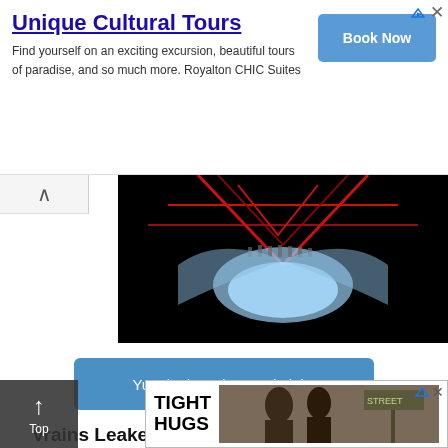[Figure (infographic): Advertisement banner for Unique Cultural Tours / Royalton CHIC Suites with a 'Book Now' button]
[Figure (illustration): Hero image from Yu-Gi-Oh Vrains anime, showing mechanical/futuristic blue and red design on black background]
[Figure (screenshot): Blue button labeled 'Yu-Gi-Oh Vrains Duel Links']
Vrains Leaked Characters
[Figure (photo): Three anime character portraits from Yu-Gi-Oh Vrains: a character in yellow/purple armor, a character in red with spiky hair, and a muscular villain character]
[Figure (infographic): Bottom advertisement overlay for 'Tight Hugs' with a photo of people]